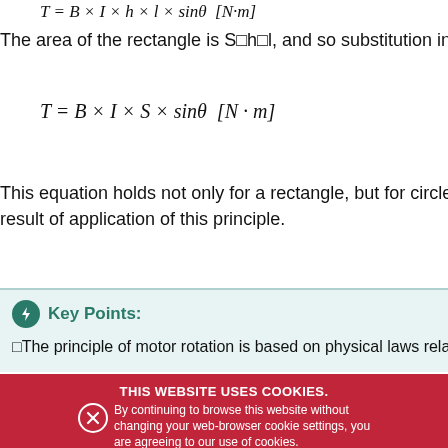The area of the rectangle is S=h×l, and so substitution into the a
This equation holds not only for a rectangle, but for circles and o result of application of this principle.
Key Points:
✦The principle of motor rotation is based on physical laws rela
THIS WEBSITE USES COOKIES. By continuing to browse this website without changing your web-browser cookie settings, you are agreeing to our use of cookies.